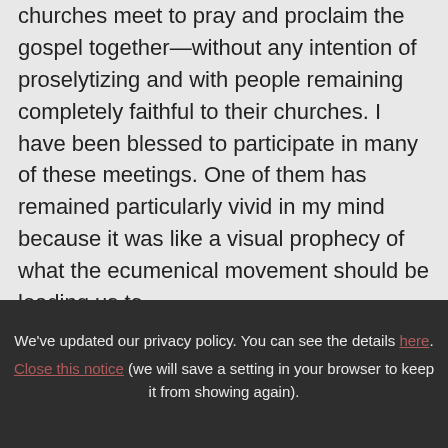churches meet to pray and proclaim the gospel together—without any intention of proselytizing and with people remaining completely faithful to their churches. I have been blessed to participate in many of these meetings. One of them has remained particularly vivid in my mind because it was like a visual prophecy of what the ecumenical movement should be leading us to.

In 2009 there was a large demonstration of
We've updated our privacy policy. You can see the details here. Close this notice (we will save a setting in your browser to keep it from showing again).